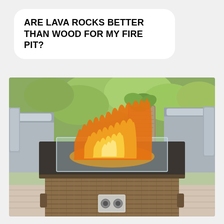ARE LAVA ROCKS BETTER THAN WOOD FOR MY FIRE PIT?
[Figure (photo): A wicker/rattan-style rectangular gas fire pit table with orange and yellow flames visible through a glass wind guard on top. The fire pit has a brown woven texture exterior with metal legs. It is set on a wooden deck surrounded by grey cushioned patio furniture and green foliage in the background.]